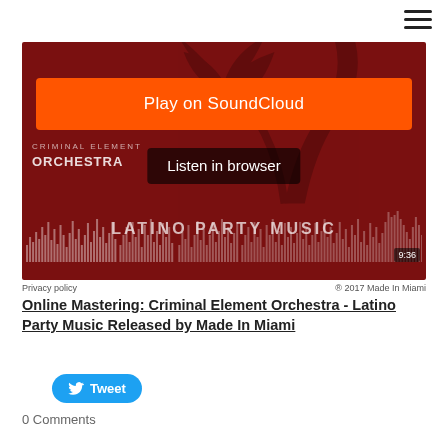[Figure (screenshot): SoundCloud embedded player showing Criminal Element Orchestra - Latino Party Music. Dark red background with waveform visualization, orange 'Play on SoundCloud' button, dark 'Listen in browser' button, ORCHESTRA text on left, LATINO PARTY MUSIC text at bottom, duration 9:36, Privacy policy and 2017 Made In Miami footer.]
Online Mastering: Criminal Element Orchestra - Latino Party Music Released by Made In Miami
[Figure (other): Twitter Tweet button in blue rounded pill shape]
0 Comments